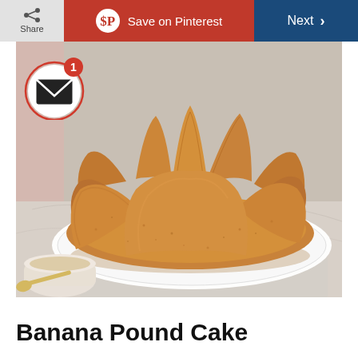Share | Save on Pinterest | Next
[Figure (photo): A golden-brown banana bundt cake on a white plate, placed on a textured cloth on a marble surface. A white cup with sauce is partially visible in the bottom left corner.]
Banana Pound Cake